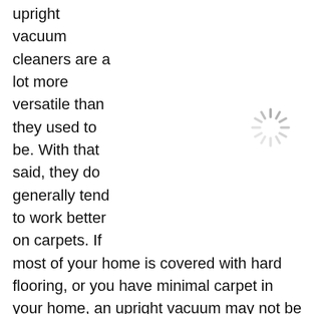upright vacuum cleaners are a lot more versatile than they used to be. With that said, they do generally tend to work better on carpets. If most of your home is covered with hard flooring, or you have minimal carpet in your home, an upright vacuum may not be the best option for you.

Uprights are also heavier than most other vacuum variations, so if you have mobility issues or you need a
[Figure (other): A loading spinner icon (circular with radiating lines, grey color) on the right side of the page]